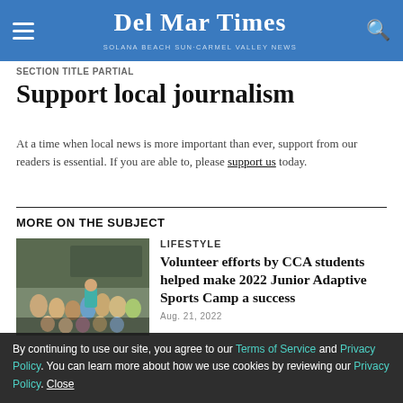Del Mar Times — Solana Beach Sun-Carmel Valley News
SECTION TITLE PARTIAL
Support local journalism
At a time when local news is more important than ever, support from our readers is essential. If you are able to, please support us today.
MORE ON THE SUBJECT
[Figure (photo): Group photo of CCA students at a gymnasium for Junior Adaptive Sports Camp]
LIFESTYLE
Volunteer efforts by CCA students helped make 2022 Junior Adaptive Sports Camp a success
Aug. 21, 2022
By continuing to use our site, you agree to our Terms of Service and Privacy Policy. You can learn more about how we use cookies by reviewing our Privacy Policy. Close